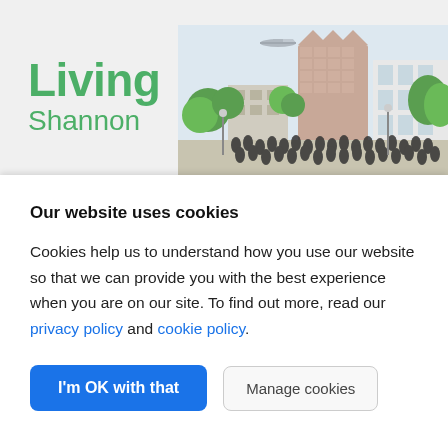[Figure (illustration): Living Shannon website header with green logo text 'Living Shannon' on the left and an architectural illustration of a urban development scene on the right showing buildings, trees, and a crowd of people]
Our website uses cookies
Cookies help us to understand how you use our website so that we can provide you with the best experience when you are on our site. To find out more, read our privacy policy and cookie policy.